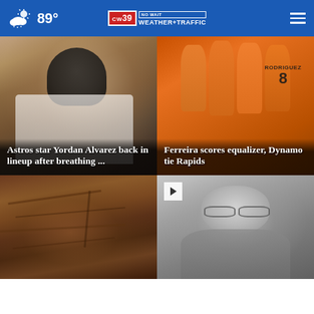CW39 Houston | NO WAIT WEATHER+TRAFFIC | 89°
[Figure (photo): Baseball player in batting gear, Houston Astros uniform, close-up shot]
Astros star Yordan Alvarez back in lineup after breathing ...
[Figure (photo): Soccer team in orange jerseys huddled together, player number 8 RODRIGUEZ visible]
Ferreira scores equalizer, Dynamo tie Rapids
[Figure (photo): Rocky cliff formation with reddish-brown stone textures]
[Figure (photo): Black and white photo of a man with glasses and beard, video play button overlay]